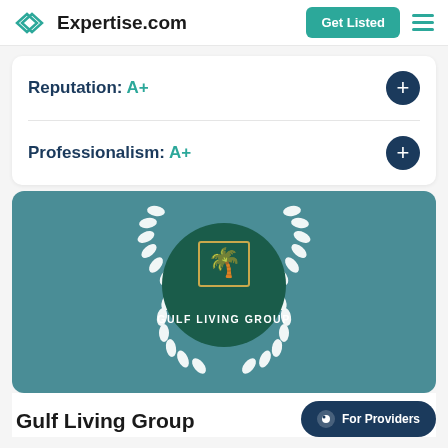Expertise.com
Reputation:  A+
Professionalism:  A+
[Figure (logo): Gulf Living Group company logo with laurel wreath on teal background]
Gulf Living Group